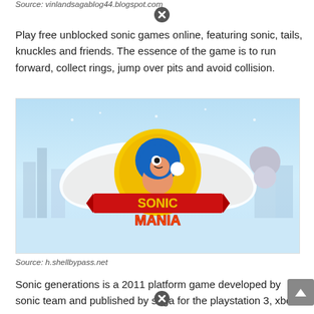Source: vinlandsagablog44.blogspot.com
Play free unblocked sonic games online, featuring sonic, tails, knuckles and friends. The essence of the game is to run forward, collect rings, jump over pits and avoid collision.
[Figure (photo): Sonic Mania game promotional image showing Sonic the Hedgehog character with wings logo and 'SONIC MANIA' text on a red banner, with another character visible on the right side, set against a blue wintry background.]
Source: h.shellbypass.net
Sonic generations is a 2011 platform game developed by sonic team and published by sega for the playstation 3, xbox 360